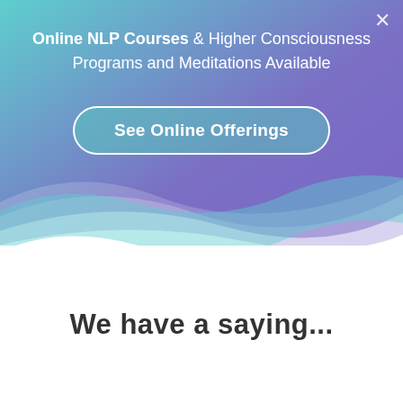[Figure (infographic): Banner with gradient background (teal to purple), white wave shape at the bottom, containing text about Online NLP Courses and a CTA button]
Online NLP Courses & Higher Consciousness Programs and Meditations Available
See Online Offerings
We have a saying...